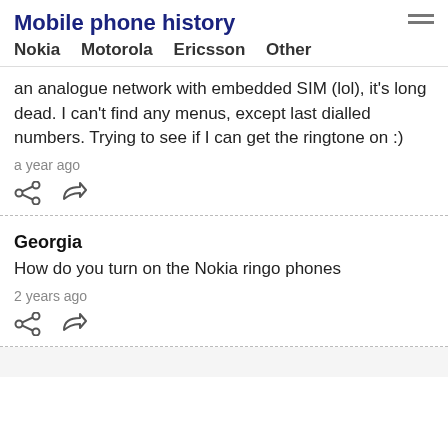Mobile phone history
Nokia  Motorola  Ericsson  Other
an analogue network with embedded SIM (lol), it's long dead. I can't find any menus, except last dialled numbers. Trying to see if I can get the ringtone on :)
a year ago
[Figure (other): Share and reply icons]
Georgia
How do you turn on the Nokia ringo phones
2 years ago
[Figure (other): Share and reply icons]